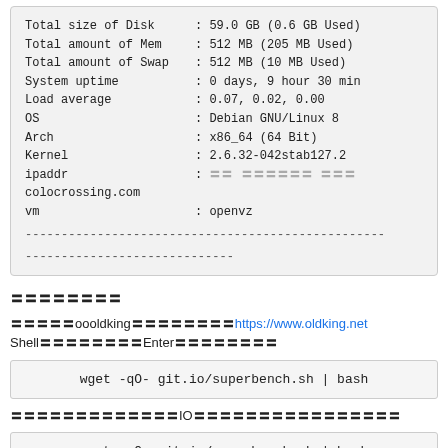| Property | Value |
| --- | --- |
| Total size of Disk | 59.0 GB (0.6 GB Used) |
| Total amount of Mem | 512 MB (205 MB Used) |
| Total amount of Swap | 512 MB (10 MB Used) |
| System uptime | 0 days, 9 hour 30 min |
| Load average | 0.07, 0.02, 0.00 |
| OS | Debian GNU/Linux 8 |
| Arch | x86_64 (64 Bit) |
| Kernel | 2.6.32-042stab127.2 |
| ipaddr | [redacted] colocrossing.com |
| vm | openvz |
〓〓〓〓〓〓〓〓
〓〓〓〓〓oooldking〓〓〓〓〓〓〓〓https://www.oldking.net Shell〓〓〓〓〓〓〓〓Enter〓〓〓〓〓〓〓〓
wget -qO- git.io/superbench.sh | bash
〓〓〓〓〓〓〓〓〓〓〓〓〓IO〓〓〓〓〓〓〓〓〓〓〓〓〓〓〓〓
wget -qO- git.io/superbench.sh | bash